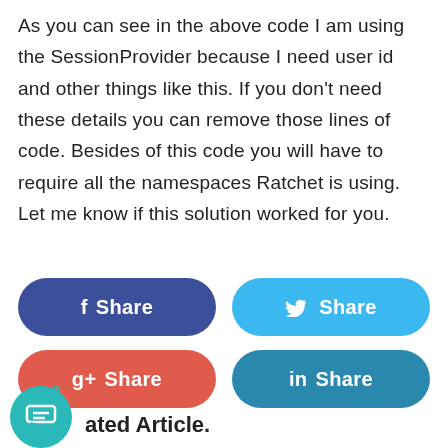As you can see in the above code I am using the SessionProvider because I need user id and other things like this. If you don't need these details you can remove those lines of code. Besides of this code you will have to require all the namespaces Ratchet is using. Let me know if this solution worked for you.
[Figure (other): Social share buttons: Facebook Share (dark blue), Twitter Share (light blue), Google+ Share (red), LinkedIn Share (teal blue)]
ated Article.